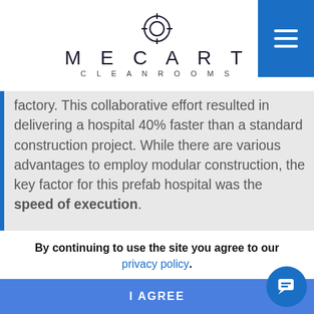[Figure (logo): Mecart Cleanrooms logo with circular crosshair icon above text MECART in spaced uppercase letters and CLEANROOMS below]
factory. This collaborative effort resulted in delivering a hospital 40% faster than a standard construction project. While there are various advantages to employ modular construction, the key factor for this prefab hospital was the speed of execution.
Modular buildings are twice as fast to deliver as their traditional counterparts. Another significant advantage in this project is the requirement of fewer people working on-site, diminishing the chance of having a workforce shortage, and minimizing the risk of COVID-19 spread.
By continuing to use the site you agree to our privacy policy.
I AGREE